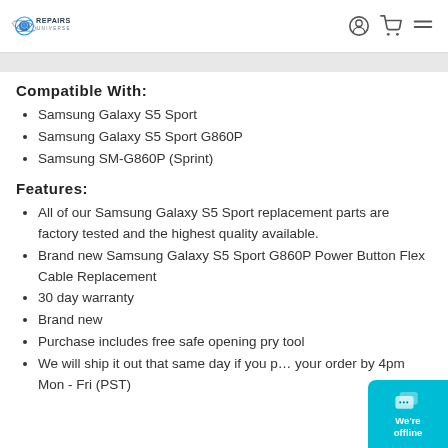Repairs Universe — navigation header with logo, user icon, cart icon, and menu icon
Compatible With:
Samsung Galaxy S5 Sport
Samsung Galaxy S5 Sport G860P
Samsung SM-G860P (Sprint)
Features:
All of our Samsung Galaxy S5 Sport replacement parts are factory tested and the highest quality available.
Brand new Samsung Galaxy S5 Sport G860P Power Button Flex Cable Replacement
30 day warranty
Brand new
Purchase includes free safe opening pry tool
We will ship it out that same day if you place your order by 4pm Mon - Fri (PST)